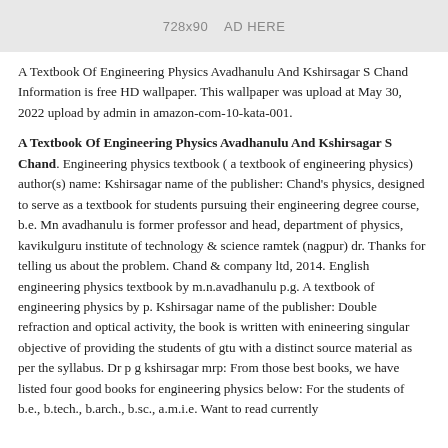[Figure (other): Gray advertisement banner placeholder reading '728x90  AD HERE']
A Textbook Of Engineering Physics Avadhanulu And Kshirsagar S Chand Information is free HD wallpaper. This wallpaper was upload at May 30, 2022 upload by admin in amazon-com-10-kata-001.
A Textbook Of Engineering Physics Avadhanulu And Kshirsagar S Chand. Engineering physics textbook ( a textbook of engineering physics) author(s) name: Kshirsagar name of the publisher: Chand's physics, designed to serve as a textbook for students pursuing their engineering degree course, b.e. Mn avadhanulu is former professor and head, department of physics, kavikulguru institute of technology & science ramtek (nagpur) dr. Thanks for telling us about the problem. Chand & company ltd, 2014. English engineering physics textbook by m.n.avadhanulu p.g. A textbook of engineering physics by p. Kshirsagar name of the publisher: Double refraction and optical activity, the book is written with enineering singular objective of providing the students of gtu with a distinct source material as per the syllabus. Dr p g kshirsagar mrp: From those best books, we have listed four good books for engineering physics below: For the students of b.e., b.tech., b.arch., b.sc., a.m.i.e. Want to read currently